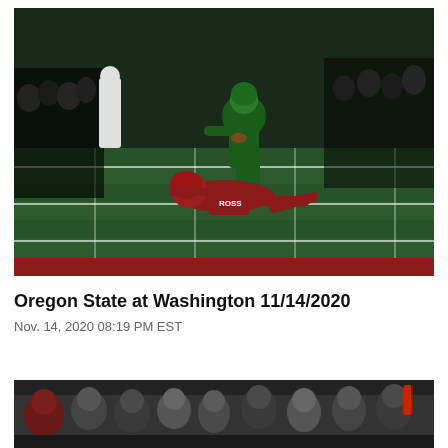[Figure (photo): Football game action photo: Oregon State player in green uniform and green helmet leaping over Washington State player wearing red uniform with number 1 and name ROSS, diving on the green turf. Sideline officials and masked spectators visible in background. Red end zone strip at bottom. Night game.]
Oregon State at Washington 11/14/2020
Nov. 14, 2020 08:19 PM EST
[Figure (photo): Partial photo at bottom of page showing a crowd of people on a sideline wearing masks and Washington State gear, with a red illuminated light stick visible on the right side. Dark/nighttime setting.]